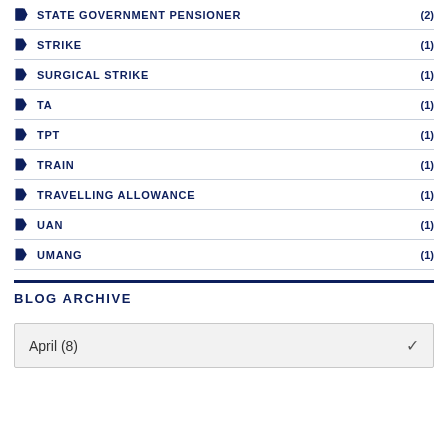STATE GOVERNMENT PENSIONER (2)
STRIKE (1)
SURGICAL STRIKE (1)
TA (1)
TPT (1)
TRAIN (1)
TRAVELLING ALLOWANCE (1)
UAN (1)
UMANG (1)
BLOG ARCHIVE
April (8)